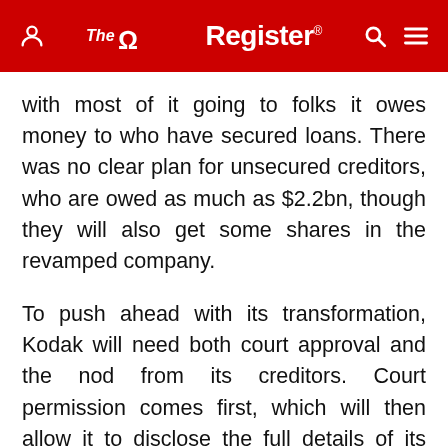The Register
with most of it going to folks it owes money to who have secured loans. There was no clear plan for unsecured creditors, who are owed as much as $2.2bn, though they will also get some shares in the revamped company.
To push ahead with its transformation, Kodak will need both court approval and the nod from its creditors. Court permission comes first, which will then allow it to disclose the full details of its bankruptcy plans so that creditors can vote on them.